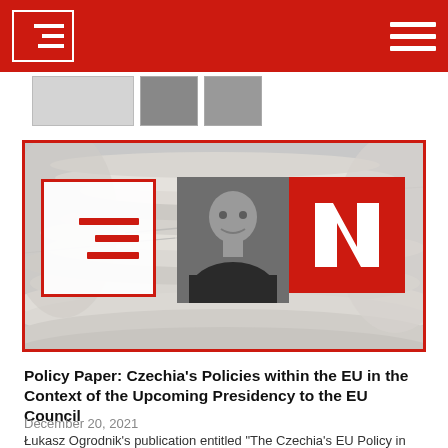Navigation bar with logo and hamburger menu
[Figure (screenshot): Thumbnail strip showing three small article preview images]
[Figure (illustration): Feature image with rolled newspapers background and overlay logos: a document icon, a black-and-white portrait photo of a young man, and a red square with letter N]
Policy Paper: Czechia’s Policies within the EU in the Context of the Upcoming Presidency to the EU Council
December 20, 2021
Lukasz Ogrodnik’s publication entitled “The Czechia’s EU Policy in